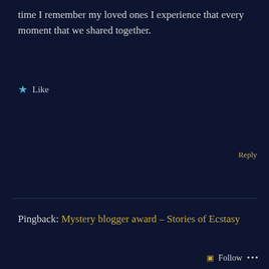time I remember my loved ones I experience that every moment that we shared together.
★ Like
Reply
Pingback: Mystery blogger award – Stories of Ecstasy
Privacy & Cookies: This site uses cookies. By continuing to use this website, you agree to their use.
To find out more, including how to control cookies, see here: Cookie Policy
Close and accept
Follow